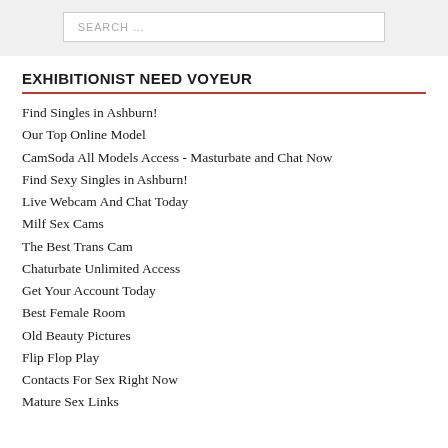[Figure (screenshot): Search bar input field with placeholder text SEARCH ...]
EXHIBITIONIST NEED VOYEUR
Find Singles in Ashburn!
Our Top Online Model
CamSoda All Models Access - Masturbate and Chat Now
Find Sexy Singles in Ashburn!
Live Webcam And Chat Today
Milf Sex Cams
The Best Trans Cam
Chaturbate Unlimited Access
Get Your Account Today
Best Female Room
Old Beauty Pictures
Flip Flop Play
Contacts For Sex Right Now
Mature Sex Links